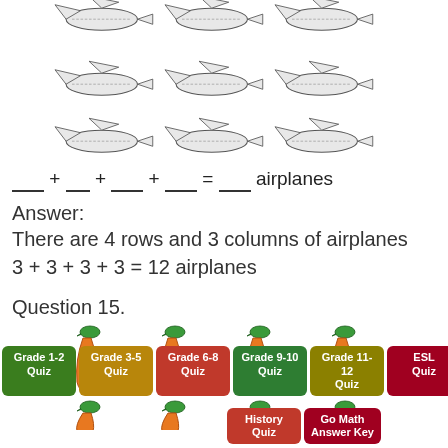[Figure (illustration): Two rows of 3 airplanes each shown at the top of the page (partial, cropped), and a third row of 3 airplanes visible]
Answer:
There are 4 rows and 3 columns of airplanes
3 + 3 + 3 + 3 = 12 airplanes
Question 15.
[Figure (illustration): 4 carrots in a row (first row) and 4 partial carrots in a second row below]
Grade 1-2 Quiz
Grade 3-5 Quiz
Grade 6-8 Quiz
Grade 9-10 Quiz
Grade 11-12 Quiz
ESL Quiz
History Quiz
Go Math Answer Key